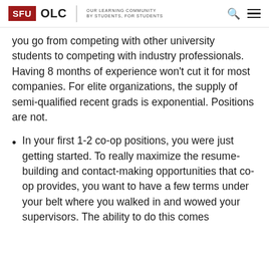SFU OLC | OUR LEARNING COMMUNITY BY STUDENTS, FOR STUDENTS
you go from competing with other university students to competing with industry professionals. Having 8 months of experience won't cut it for most companies. For elite organizations, the supply of semi-qualified recent grads is exponential. Positions are not.
In your first 1-2 co-op positions, you were just getting started. To really maximize the resume-building and contact-making opportunities that co-op provides, you want to have a few terms under your belt where you walked in and wowed your supervisors. The ability to do this comes